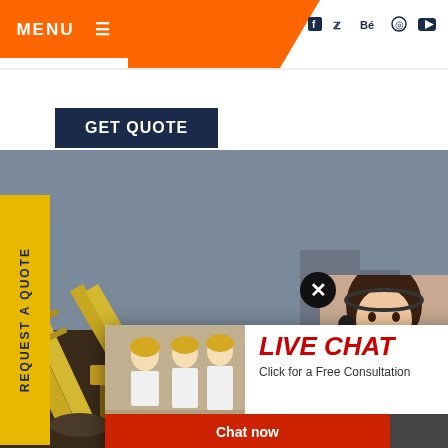MENU ≡  [social icons: f, twitter, Be, pinterest, youtube]
GET QUOTE
[Figure (photo): Construction site with yellow conveyor belt machinery and equipment in background]
REQUEST A QUOTE (vertical sidebar)
[Figure (screenshot): Live chat popup with construction workers photo. Title: LIVE CHAT. Subtitle: Click for a Free Consultation. Buttons: Chat now, Chat later. Close X button.]
[Figure (photo): Customer service woman with headset on right side]
Have any requests, click here.
Quot
Enquiry
drobilkalm